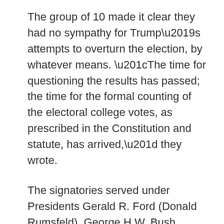The group of 10 made it clear they had no sympathy for Trump’s attempts to overturn the election, by whatever means. “The time for questioning the results has passed; the time for the formal counting of the electoral college votes, as prescribed in the Constitution and statute, has arrived,” they wrote.
The signatories served under Presidents Gerald R. Ford (Donald Rumsfeld), George H.W. Bush (Cheney), Bill Clinton (William Cohen, William Perry), George W. Bush (Rumsfeld again, Robert Gates), Barack Obama (Gates again, Leon Panetta, Chuck Hagel and Ashton Carter) and Trump.
The fate of the Senate — and Joe Biden’s agenda — are in the hands of two Georgia runoff elections.